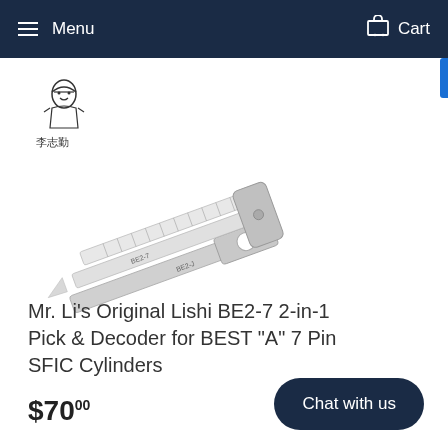Menu   Cart
[Figure (logo): Mr. Li's Original Lishi brand logo with illustrated figure and Chinese characters 李志勤]
[Figure (photo): Lishi BE2-7 2-in-1 pick and decoder tool for BEST A 7 Pin SFIC cylinders, showing metal lock picking tool with labeled components BE2-7]
Mr. Li's Original Lishi BE2-7 2-in-1 Pick & Decoder for BEST "A" 7 Pin SFIC Cylinders
$70.00
Chat with us